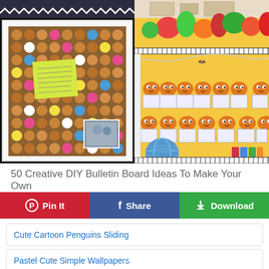[Figure (photo): Four-panel image grid showing DIY bulletin board ideas. Top-left: dark background with white zigzag trim. Top-right: neutral/beige wall art display. Bottom-left: cork board made from wine corks with colored spots, a yellow sticky note, and a pinned photo. Bottom-right: classroom bulletin board with pumpkin character decorations on yellow background with fall foliage.]
50 Creative DIY Bulletin Board Ideas To Make Your Own
[Figure (infographic): Three social action buttons in a row: red Pinterest 'Pin It' button, blue Facebook 'Share' button, green 'Download' button with download icon.]
Cute Cartoon Penguins Sliding
Pastel Cute Simple Wallpapers